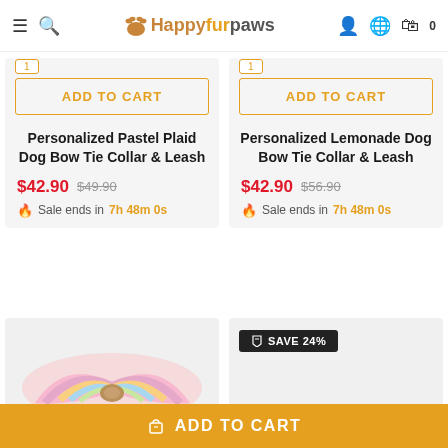Happyfurpaws
ADD TO CART
Personalized Pastel Plaid Dog Bow Tie Collar & Leash
$42.90  $49.90  Sale ends in 7h 48m 0s
ADD TO CART
Personalized Lemonade Dog Bow Tie Collar & Leash
$42.90  $56.90  Sale ends in 7h 48m 0s
SAVE 24%
ADD TO CART